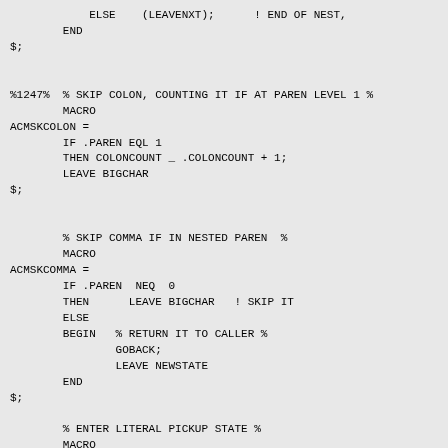ELSE    (LEAVENXT);      ! END OF NEST,
        END
$;


%1247%  % SKIP COLON, COUNTING IT IF AT PAREN LEVEL 1 %
        MACRO
ACMSKCOLON =
        IF .PAREN EQL 1
        THEN COLONCOUNT _ .COLONCOUNT + 1;
        LEAVE BIGCHAR
$;


        % SKIP COMMA IF IN NESTED PAREN  %
        MACRO
ACMSKCOMMA =
        IF .PAREN  NEQ  0
        THEN      LEAVE BIGCHAR   ! SKIP IT
        ELSE
        BEGIN   % RETURN IT TO CALLER %
                GOBACK;
                LEAVE NEWSTATE
        END
$;

        % ENTER LITERAL PICKUP STATE %
        MACRO
ACMGETLIT =
        MSNGTIC   1;    !SET MISSING TIC FLAG